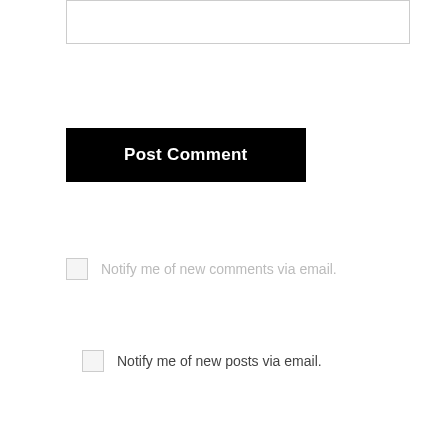[Figure (other): Input text box (partially visible at top)]
Post Comment
Notify me of new comments via email.
Notify me of new posts via email.
This site uses Akismet to reduce spam. Learn how your comment data is processed.
[Figure (logo): WordPress logo in footer]